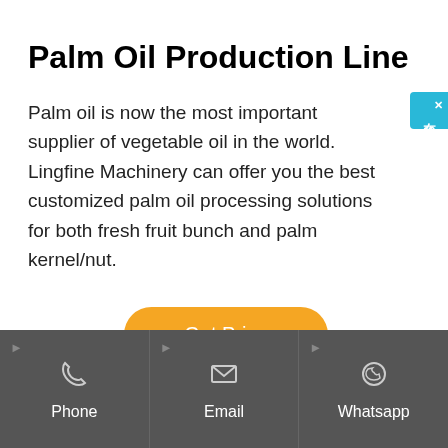Palm Oil Production Line
Palm oil is now the most important supplier of vegetable oil in the world. Lingfine Machinery can offer you the best customized palm oil processing solutions for both fresh fruit bunch and palm kernel/nut.
[Figure (other): Blue online chat widget on the right side with Chinese characters reading 在线咨询 (online consultation) and a close X button]
Get Price
[Figure (infographic): Dark gray footer bar with three columns: Phone (phone icon), Email (envelope icon), Whatsapp (whatsapp icon), each with a small right-pointing arrow at top left]